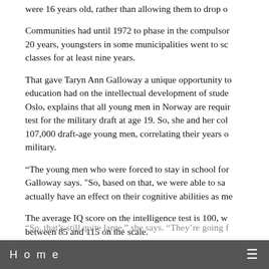were 16 years old, rather than allowing them to drop o
Communities had until 1972 to phase in the compulsory school reform. Over 20 years, youngsters in some municipalities went to school and attended classes for at least nine years.
That gave Taryn Ann Galloway a unique opportunity to study the effect that education had on the intellectual development of students. Galloway, now at Oslo, explains that all young men in Norway are required to take an IQ test for the military draft at age 19. So, she and her colleagues looked at 107,000 draft-age young men, correlating their years of education with their military.
"The young men who were forced to stay in school for longer scored higher," Galloway says. "So, based on that, we were able to say that education actually have an effect on their cognitive abilities as me
The average IQ score on the intelligence test is 100, with most people between 85 and 115 on the scale.
According to Galloway, students who got a full two years of extra schooling more than 7 points. Those with just one additional year during the reform period gained approximately 3.7 IQ points.
"So, that's still quite large," she says. "They're going f
Home